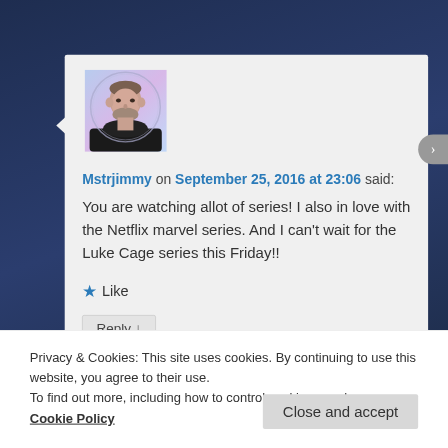[Figure (photo): Profile photo of a young man with beard, circular frame overlay, set against a light gradient background]
Mstrjimmy on September 25, 2016 at 23:06 said:
You are watching allot of series! I also in love with the Netflix marvel series. And I can't wait for the Luke Cage series this Friday!!
★ Like
Reply ↓
Privacy & Cookies: This site uses cookies. By continuing to use this website, you agree to their use.
To find out more, including how to control cookies, see here: Cookie Policy
Close and accept